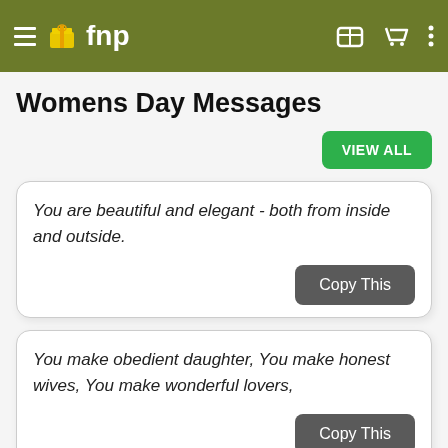≡ 🎁fnp  [gift icon] [cart icon] ⋮
Womens Day Messages
VIEW ALL
You are beautiful and elegant - both from inside and outside.
Copy This
You make obedient daughter, You make honest wives, You make wonderful lovers,
Copy This